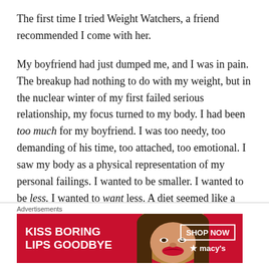The first time I tried Weight Watchers, a friend recommended I come with her.

My boyfriend had just dumped me, and I was in pain. The breakup had nothing to do with my weight, but in the nuclear winter of my first failed serious relationship, my focus turned to my body. I had been too much for my boyfriend. I was too needy, too demanding of his time, too attached, too emotional. I saw my body as a physical representation of my personal failings. I wanted to be smaller. I wanted to be less. I wanted to want less. A diet seemed like a
[Figure (other): Advertisement banner for Macy's lipstick. Red background with text 'KISS BORING LIPS GOODBYE', a woman's face with red lips, and a 'SHOP NOW' button with the Macy's star logo.]